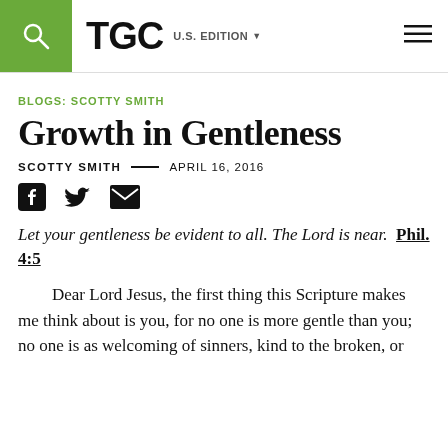TGC  U.S. EDITION
BLOGS: SCOTTY SMITH
Growth in Gentleness
SCOTTY SMITH — APRIL 16, 2016
[Figure (other): Social sharing icons: Facebook, Twitter, Email]
Let your gentleness be evident to all. The Lord is near.  Phil. 4:5
Dear Lord Jesus, the first thing this Scripture makes me think about is you, for no one is more gentle than you; no one is as welcoming of sinners, kind to the broken, or